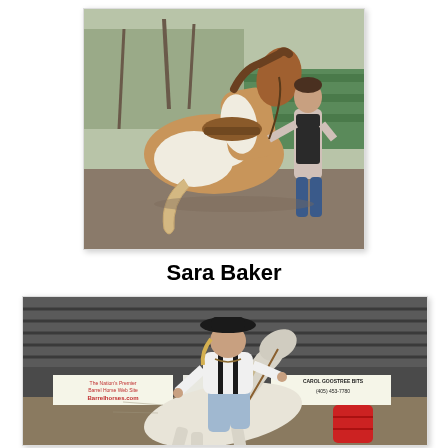[Figure (photo): A person standing in front of a paint horse from behind, outdoors at a stable or corral with green fencing and bare trees in background.]
Sara Baker
[Figure (photo): A person riding a white/paint horse at speed in an indoor arena during a barrel racing event. Advertising banners visible including Barrelhorses.com and Carol Goostree Bits (405) 453-7780.]